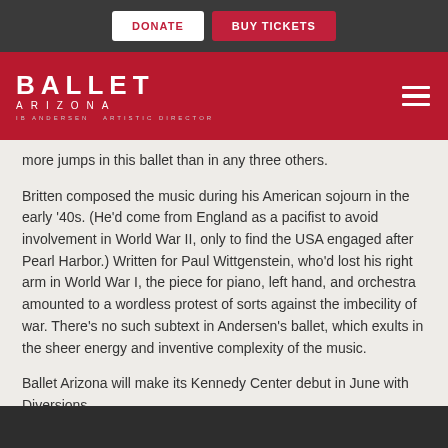DONATE | BUY TICKETS
[Figure (logo): Ballet Arizona logo with text 'IB ANDERSEN ARTISTIC DIRECTOR' on red background with hamburger menu icon]
more jumps in this ballet than in any three others.
Britten composed the music during his American sojourn in the early ’40s. (He’d come from England as a pacifist to avoid involvement in World War II, only to find the USA engaged after Pearl Harbor.) Written for Paul Wittgenstein, who’d lost his right arm in World War I, the piece for piano, left hand, and orchestra amounted to a wordless protest of sorts against the imbecility of war. There’s no such subtext in Andersen’s ballet, which exults in the sheer energy and inventive complexity of the music.
Ballet Arizona will make its Kennedy Center debut in June with Diversions.